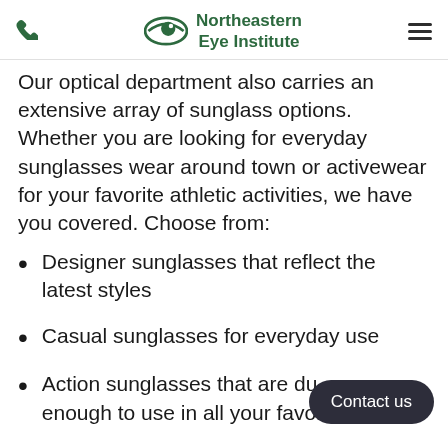Northeastern Eye Institute
Our optical department also carries an extensive array of sunglass options. Whether you are looking for everyday sunglasses wear around town or activewear for your favorite athletic activities, we have you covered. Choose from:
Designer sunglasses that reflect the latest styles
Casual sunglasses for everyday use
Action sunglasses that are durable enough to use in all your favorite
Contact us